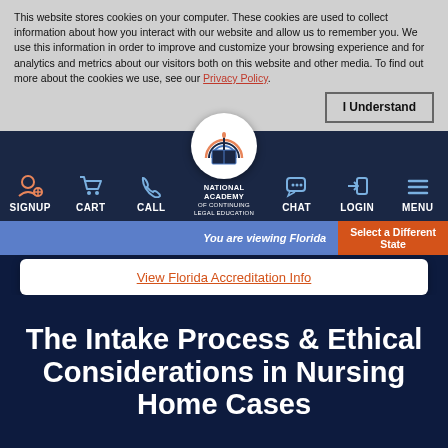This website stores cookies on your computer. These cookies are used to collect information about how you interact with our website and allow us to remember you. We use this information in order to improve and customize your browsing experience and for analytics and metrics about our visitors both on this website and other media. To find out more about the cookies we use, see our Privacy Policy.
I Understand
[Figure (screenshot): Navigation bar with SIGNUP, CART, CALL, National Academy of Continuing Legal Education logo, CHAT, LOGIN, MENU icons on dark navy background]
You are viewing Florida
Select a Different State
View Florida Accreditation Info
The Intake Process & Ethical Considerations in Nursing Home Cases